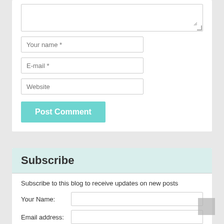[Figure (screenshot): Comment form with textarea, Your name, E-mail, Website input fields and Post Comment button]
Subscribe
Subscribe to this blog to receive updates on new posts
[Figure (screenshot): Subscribe form with Your Name and Email address fields and Submit button]